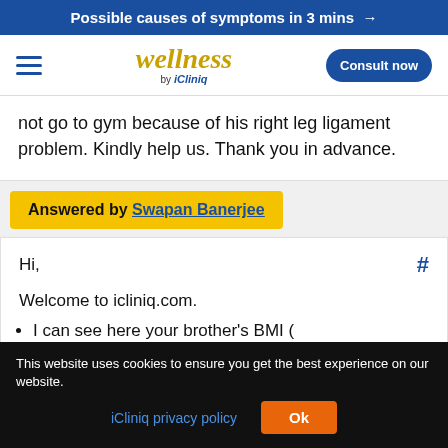Possible causes of symptoms in 3 mins →
wellness by iCliniq | Consult now
not go to gym because of his right leg ligament problem. Kindly help us. Thank you in advance.
Answered by Swapan Banerjee
Hi,
Welcome to icliniq.com.
I can see here your brother's BMI (
This website uses cookies to ensure you get the best experience on our website.
iCliniq privacy policy    Ok